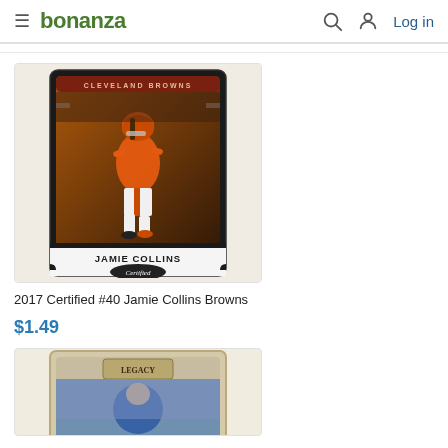bonanza  Log in
[Figure (photo): 2017 Certified #40 Jamie Collins Browns trading card showing player in orange Cleveland Browns uniform]
2017 Certified #40 Jamie Collins Browns
$1.49
[Figure (photo): Partial view of a second trading card with Legacy branding, showing a football player]